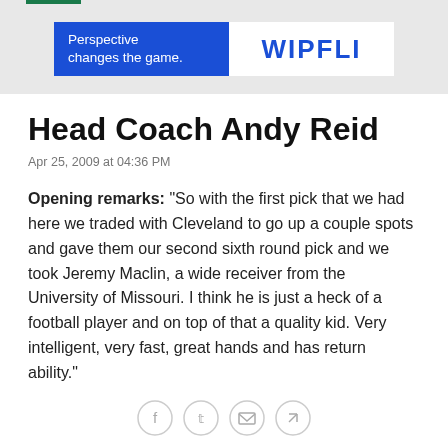[Figure (other): Advertisement banner for Wipfli with blue left panel reading 'Perspective changes the game.' and white right panel with WIPFLI logo]
Head Coach Andy Reid
Apr 25, 2009 at 04:36 PM
Opening remarks: "So with the first pick that we had here we traded with Cleveland to go up a couple spots and gave them our second sixth round pick and we took Jeremy Maclin, a wide receiver from the University of Missouri. I think he is just a heck of a football player and on top of that a quality kid. Very intelligent, very fast, great hands and has return ability."
[Figure (other): Social sharing icons row: Facebook, Twitter, Email, Link]